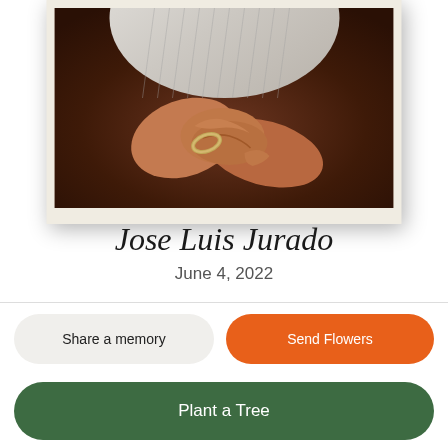[Figure (photo): Close-up photograph of an elderly person's hands clasped together, wearing a striped white shirt and a silver bracelet, against a dark brown background. The image is displayed in a white/cream bordered frame with a shadow.]
Jose Luis Jurado
June 4, 2022
Share a memory
Send Flowers
Plant a Tree